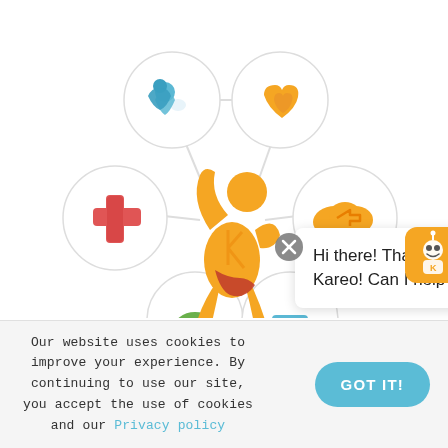[Figure (infographic): Kareo logo (orange figure) in center surrounded by circular icons connected by lines: blue heart/people icon (top left), orange heart icon (top right), red plus/cross icon (left), orange cloud icon (right), and two partially visible icons at bottom. This forms a connected network diagram around the central Kareo brand logo.]
Hi there! Thanks for checking out Kareo! Can I help?
[Figure (illustration): Chat robot icon (orange background, cartoon robot face) with red notification badge showing '1']
Our website uses cookies to improve your experience. By continuing to use our site, you accept the use of cookies and our Privacy policy
GOT IT!